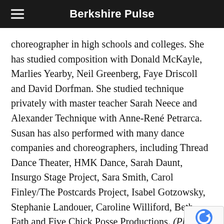Berkshire Pulse
choreographer in high schools and colleges. She has studied composition with Donald McKayle, Marlies Yearby, Neil Greenberg, Faye Driscoll and David Dorfman. She studied technique privately with master teacher Sarah Neece and Alexander Technique with Anne-René Petrarca. Susan has also performed with many dance companies and choreographers, including Thread Dance Theater, HMK Dance, Sarah Daunt, Insurgo Stage Project, Sara Smith, Carol Finley/The Postcards Project, Isabel Gotzowsky, Stephanie Landouer, Caroline Williford, Beth Fath and Five Chick Posse Productions. (Photo: Skye Schmidt)